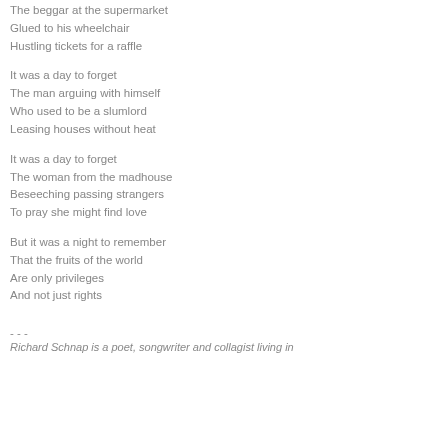The beggar at the supermarket
Glued to his wheelchair
Hustling tickets for a raffle
It was a day to forget
The man arguing with himself
Who used to be a slumlord
Leasing houses without heat
It was a day to forget
The woman from the madhouse
Beseeching passing strangers
To pray she might find love
But it was a night to remember
That the fruits of the world
Are only privileges
And not just rights
- - -
Richard Schnap is a poet, songwriter and collagist living in